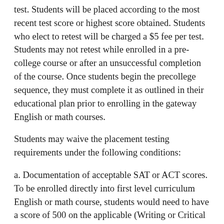test. Students will be placed according to the most recent test score or highest score obtained. Students who elect to retest will be charged a $5 fee per test. Students may not retest while enrolled in a pre-college course or after an unsuccessful completion of the course. Once students begin the precollege sequence, they must complete it as outlined in their educational plan prior to enrolling in the gateway English or math courses.
Students may waive the placement testing requirements under the following conditions:
a. Documentation of acceptable SAT or ACT scores. To be enrolled directly into first level curriculum English or math course, students would need to have a score of 500 on the applicable (Writing or Critical Reading, or the Math) section of the SAT or a minimum of 19